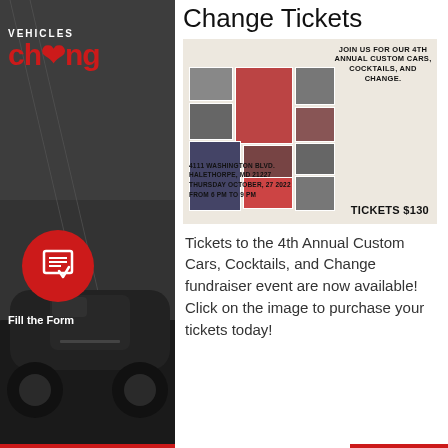Change Tickets
[Figure (photo): Event flyer for the 4th Annual Custom Cars, Cocktails, and Change fundraiser showing a collage of event photos, venue address 4111 Washington Blvd, Halethorpe, MD 21227, Thursday October 27 2022 from 6 PM to 9 PM, Tickets $150]
Tickets to the 4th Annual Custom Cars, Cocktails, and Change fundraiser event are now available! Click on the image to purchase your tickets today!
[Figure (logo): Vehicles for Change logo with red text showing 'VEHICLES' above 'cheng' in stylized font with red heart]
Fill the Form